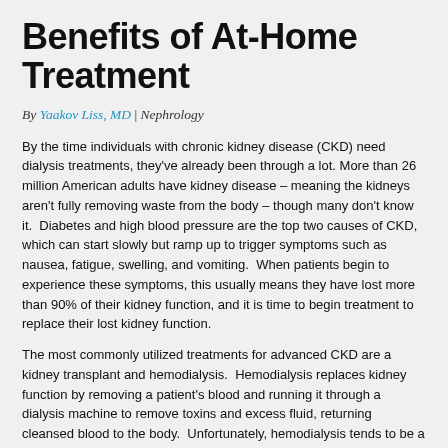Benefits of At-Home Treatment
By Yaakov Liss, MD | Nephrology
By the time individuals with chronic kidney disease (CKD) need dialysis treatments, they've already been through a lot. More than 26 million American adults have kidney disease – meaning the kidneys aren't fully removing waste from the body – though many don't know it. Diabetes and high blood pressure are the top two causes of CKD, which can start slowly but ramp up to trigger symptoms such as nausea, fatigue, swelling, and vomiting. When patients begin to experience these symptoms, this usually means they have lost more than 90% of their kidney function, and it is time to begin treatment to replace their lost kidney function.
The most commonly utilized treatments for advanced CKD are a kidney transplant and hemodialysis. Hemodialysis replaces kidney function by removing a patient's blood and running it through a dialysis machine to remove toxins and excess fluid, returning cleansed blood to the body. Unfortunately, hemodialysis tends to be a burdensome process. Most patients who receive hemodialysis do so in